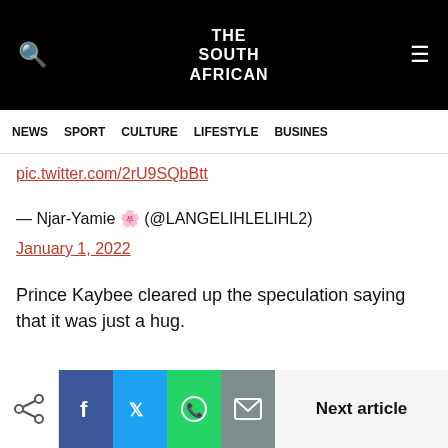THE SOUTH AFRICAN — NEWS | SPORT | CULTURE | LIFESTYLE | BUSINESS
pic.twitter.com/2rU9SQbBtt
— Njar-Yamie 🌸 (@LANGELIHLELIHL2)
January 1, 2022
Prince Kaybee cleared up the speculation saying that it was just a hug.
Next article